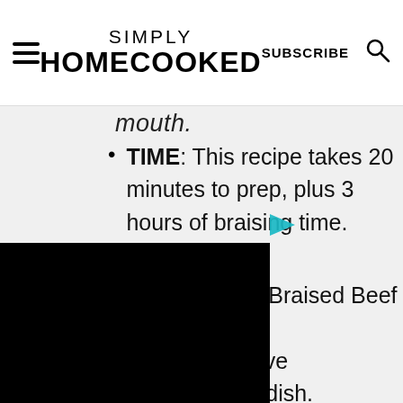SIMPLY HOMECOOKED | SUBSCRIBE
mouth.
TIME: This recipe takes 20 minutes to prep, plus 3 hours of braising time.
EASE: These Braised Beef [Short Ribs are] easy to [make and everyone] will love [this elegant, dish].
[Figure (other): Black video player overlay with a teal/cyan play button icon in the upper right corner of the video area]